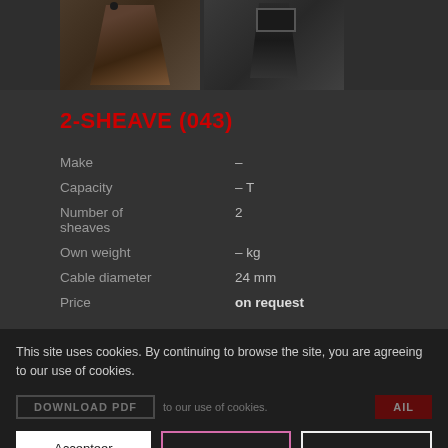[Figure (photo): Two photos of a 2-sheave block: left image shows front view of triangular shaped metal sheave block with rust/patina, right image shows side/back view of the same block showing the hook/shackle fitting in dark green/black metal.]
2-SHEAVE (043)
| Make | – |
| Capacity | – T |
| Number of sheaves | 2 |
| Own weight | – kg |
| Cable diameter | 24 mm |
| Price | on request |
This site uses cookies. By continuing to browse the site, you are agreeing to our use of cookies.
DOWNLOAD PDF    to our use of cookies.   AIL
Accepteer cookies   Weiger cookies   Instellingen